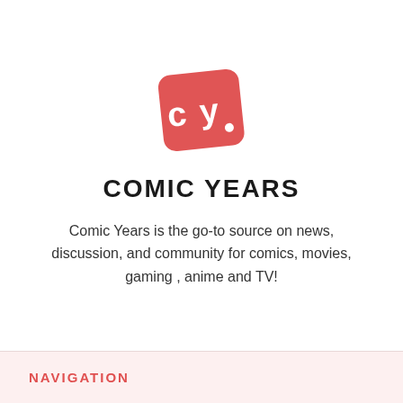[Figure (logo): Comic Years logo: a red rounded quadrilateral shape tilted slightly, with white lowercase letters 'cy.' inside]
COMIC YEARS
Comic Years is the go-to source on news, discussion, and community for comics, movies, gaming , anime and TV!
NAVIGATION